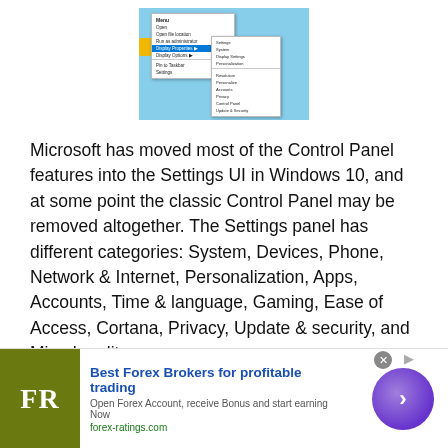[Figure (screenshot): Screenshot of Windows 10 context menu showing Control Panel options, with a blue desktop background and yellow folder icon]
Microsoft has moved most of the Control Panel features into the Settings UI in Windows 10, and at some point the classic Control Panel may be removed altogether. The Settings panel has different categories: System, Devices, Phone, Network & Internet, Personalization, Apps, Accounts, Time & language, Gaming, Ease of Access, Cortana, Privacy, Update & security, and Mixed reality.
Read more
[Figure (other): Advertisement banner: Best Forex Brokers for profitable trading. FR logo on olive green background. Open Forex Account, receive Bonus and start earning Now. forex-ratings.com]